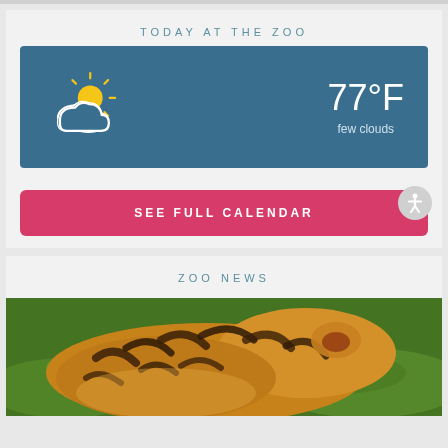TODAY AT THE ZOO
[Figure (infographic): Weather widget showing partly cloudy sky icon with sun peeking out, temperature 77°F, few clouds, on a blue background]
77°F
few clouds
SEE FULL CALENDAR
ZOO NEWS
[Figure (photo): A tiger viewed from above/behind, showing orange and black striped fur, crouching on green grass]